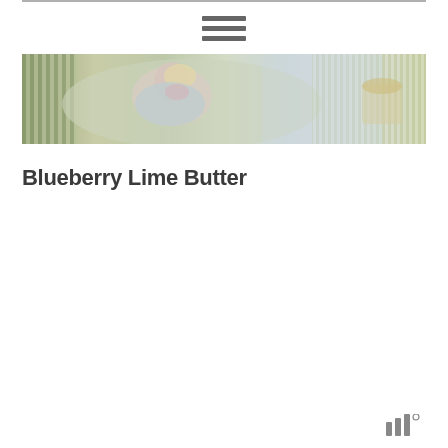[Figure (photo): A blurred/soft-focus photo showing a person resting on what appears to be a striped green and white surface, with a basket of items visible. The image serves as a hero/header banner for the page.]
Blueberry Lime Butter
logo mark